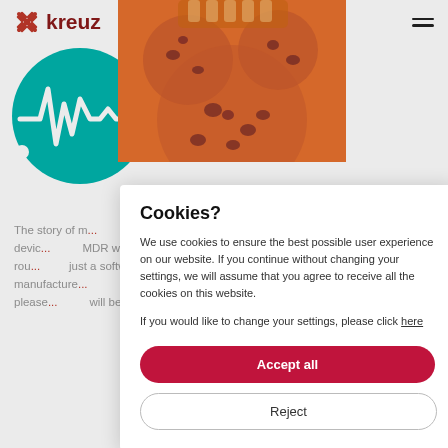kreuz
[Figure (screenshot): Cookie consent dialog overlay on a medical software website (kreuznach/meddevo). Background shows partial logo and body text about medical device software. Foreground shows cookies image (orange-tinted chocolate chip cookies) and a white dialog box with title 'Cookies?', descriptive text, and Accept all / Reject buttons.]
The story of m... when the idea was form... ely for medical devic... MDR were only one bend... developed into an all-rou... just a software solu... latform. So that the softw... f the manufacture... eddevo is getting a little... are of course please... will be able to access top... ddevo. Right when you nee...
Cookies?
We use cookies to ensure the best possible user experience on our website. If you continue without changing your settings, we will assume that you agree to receive all the cookies on this website.
If you would like to change your settings, please click here